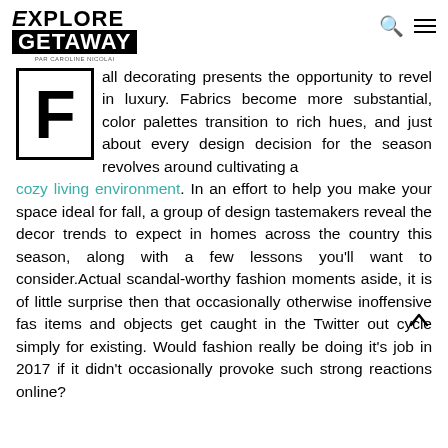EXPLORE GETAWAY by Caroline Nicolai
Fall decorating presents the opportunity to revel in luxury. Fabrics become more substantial, color palettes transition to rich hues, and just about every design decision for the season revolves around cultivating a cozy living environment. In an effort to help you make your space ideal for fall, a group of design tastemakers reveal the decor trends to expect in homes across the country this season, along with a few lessons you'll want to consider.Actual scandal-worthy fashion moments aside, it is of little surprise then that occasionally otherwise inoffensive fas items and objects get caught in the Twitter out cycle simply for existing. Would fashion really be doing it's job in 2017 if it didn't occasionally provoke such strong reactions online?